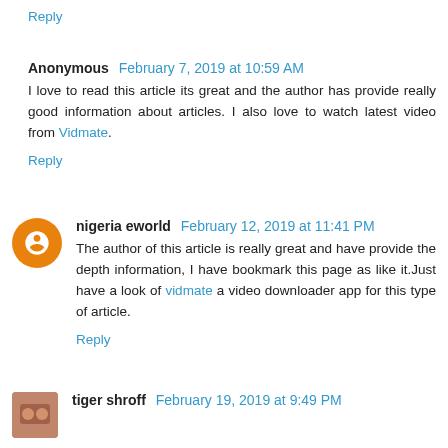Reply
Anonymous February 7, 2019 at 10:59 AM
I love to read this article its great and the author has provide really good information about articles. I also love to watch latest video from Vidmate.
Reply
nigeria eworld February 12, 2019 at 11:41 PM
The author of this article is really great and have provide the depth information, I have bookmark this page as like it.Just have a look of vidmate a video downloader app for this type of article.
Reply
tiger shroff February 19, 2019 at 9:49 PM